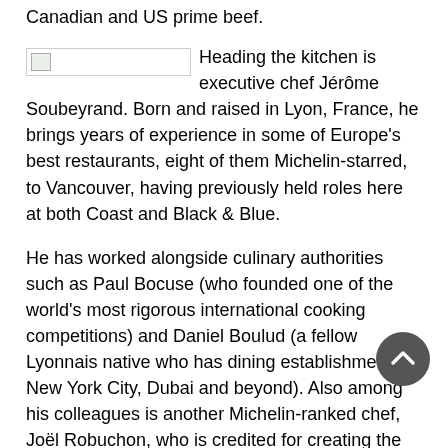Canadian and US prime beef.
[Figure (photo): Image placeholder with broken image icon]
Heading the kitchen is executive chef Jérôme Soubeyrand. Born and raised in Lyon, France, he brings years of experience in some of Europe's best restaurants, eight of them Michelin-starred, to Vancouver, having previously held roles here at both Coast and Black & Blue.
He has worked alongside culinary authorities such as Paul Bocuse (who founded one of the world's most rigorous international cooking competitions) and Daniel Boulud (a fellow Lyonnais native who has dining establishments in New York City, Dubai and beyond). Also among his colleagues is another Michelin-ranked chef, Joël Robuchon, who is credited for creating the best mashed potatoes in the world—and at Riley's you can taste Jérôme's take on the